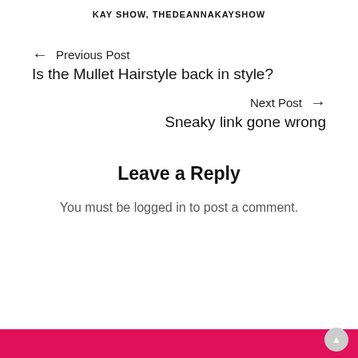KAY SHOW, THEDEANNAKAYSHOW
← Previous Post
Is the Mullet Hairstyle back in style?
Next Post →
Sneaky link gone wrong
Leave a Reply
You must be logged in to post a comment.